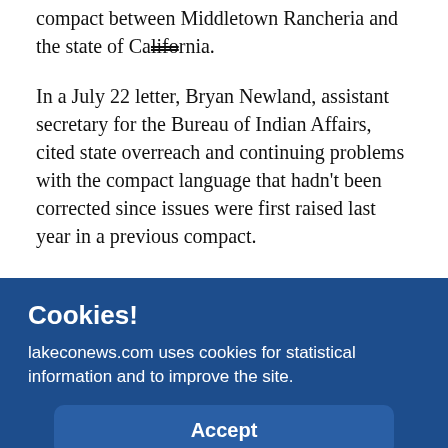compact between Middletown Rancheria and the state of California.
In a July 22 letter, Bryan Newland, assistant secretary for the Bureau of Indian Affairs, cited state overreach and continuing problems with the compact language that hadn't been corrected since issues were first raised last year in a previous compact.
Class III gaming is defined as casino-style gambling. It does not include bingo and non-banked card games.
Cookies!
lakeconews.com uses cookies for statistical information and to improve the site.
Accept